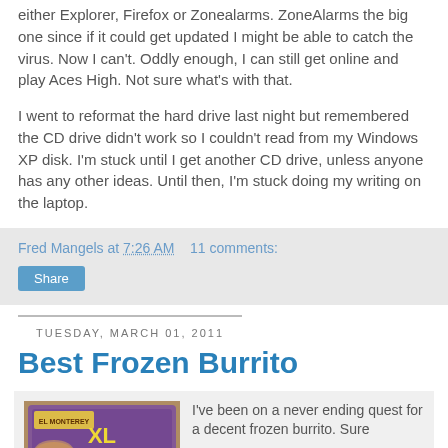either Explorer, Firefox or Zonealarms. ZoneAlarms the big one since if it could get updated I might be able to catch the virus. Now I can't. Oddly enough, I can still get online and play Aces High. Not sure what's with that.
I went to reformat the hard drive last night but remembered the CD drive didn't work so I couldn't read from my Windows XP disk. I'm stuck until I get another CD drive, unless anyone has any other ideas. Until then, I'm stuck doing my writing on the laptop.
Fred Mangels at 7:26 AM   11 comments:
Share
Tuesday, March 01, 2011
Best Frozen Burrito
[Figure (photo): Packaged frozen burrito product (El Monterey brand, large size)]
I've been on a never ending quest for a decent frozen burrito. Sure